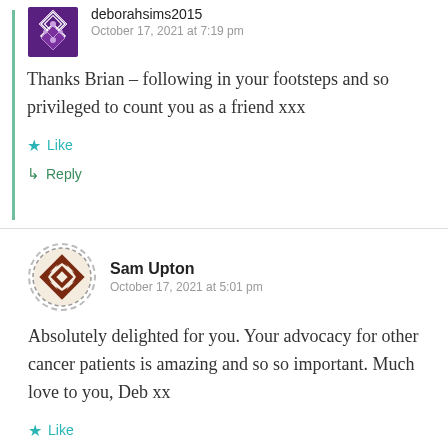deborahsims2015
October 17, 2021 at 7:19 pm
Thanks Brian – following in your footsteps and so privileged to count you as a friend xxx
Like
Reply
Sam Upton
October 17, 2021 at 5:01 pm
Absolutely delighted for you. Your advocacy for other cancer patients is amazing and so so important. Much love to you, Deb xx
Like
Reply